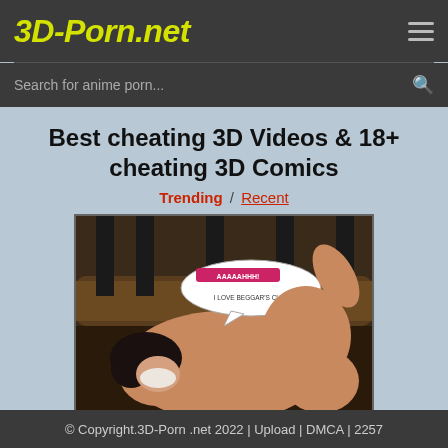3D-Porn.net
Search for anime porn...
Best cheating 3D Videos & 18+ cheating 3D Comics
Trending / Recent
[Figure (illustration): 3D comic illustration showing an adult animated scene with a speech bubble]
© Copyright.3D-Porn .net 2022 | Upload | DMCA | 2257